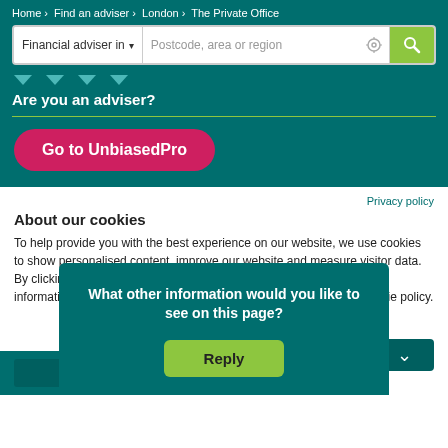Home > Find an adviser > London > The Private Office
[Figure (screenshot): Search bar with 'Financial adviser in' dropdown and 'Postcode, area or region' placeholder, location icon, and green search button]
Are you an adviser?
Go to UnbiasedPro
Privacy policy
About our cookies
To help provide you with the best experience on our website, we use cookies to show personalised content, improve our website and measure visitor data. By clicking on or navigating the site, you agree to allow us to collect information through cookies. You can learn more by checking our cookie policy.
What other information would you like to see on this page?
Reply